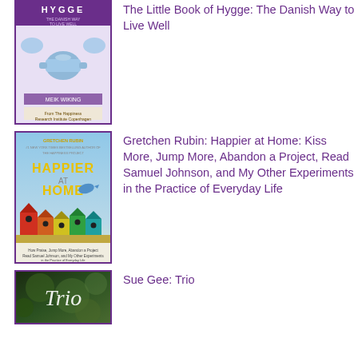[Figure (illustration): Book cover: The Little Book of Hygge: The Danish Way to Live Well by Meik Wiking - purple border, decorative Scandinavian design with teapot and swans]
The Little Book of Hygge: The Danish Way to Live Well
[Figure (illustration): Book cover: Happier at Home by Gretchen Rubin - colorful birdhouses and bird on sky background]
Gretchen Rubin: Happier at Home: Kiss More, Jump More, Abandon a Project, Read Samuel Johnson, and My Other Experiments in the Practice of Everyday Life
[Figure (illustration): Book cover: Trio by Sue Gee - dark green/forest background with cursive title]
Sue Gee: Trio